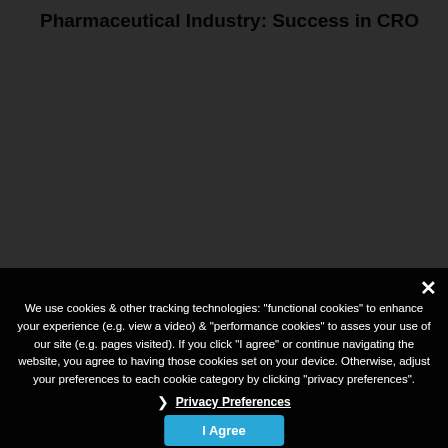Pharmaceutical Industry: Success in CRO
We use cookies & other tracking technologies: "functional cookies" to enhance your experience (e.g. view a video) & "performance cookies" to asses your use of our site (e.g. pages visited). If you click "I agree" or continue navigating the website, you agree to having those cookies set on your device. Otherwise, adjust your preferences to each cookie category by clicking "privacy preferences".
❯ Privacy Preferences
I Agree